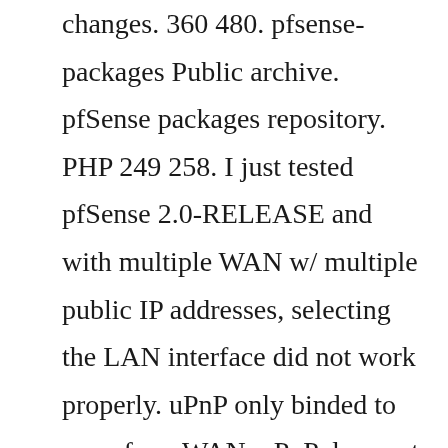changes. 360 480. pfsense-packages Public archive. pfSense packages repository. PHP 249 258. I just tested pfSense 2.0-RELEASE and with multiple WAN w/ multiple public IP addresses, selecting the LAN interface did not work properly. uPnP only binded to one of my WAN. uPnP does not add proper rules or open ports for multiple WAN interfaces. Jan 29, 2014 · Just to give you an idea of the view of UPnP on pfSense. When you go to the service, it